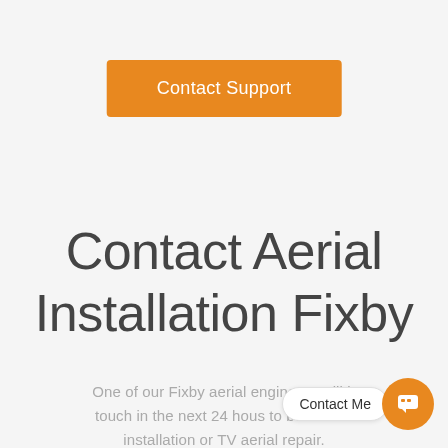[Figure (other): Orange button labeled 'Contact Support']
Contact Aerial Installation Fixby
One of our Fixby aerial engineers will be in touch in the next 24 hours to book an aerial installation or TV aerial repair.
[Figure (other): Chat widget with 'Contact Me' label and orange chat icon button]